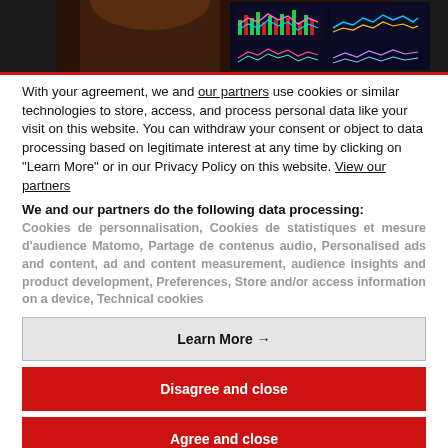[Figure (photo): Photo of a person looking at financial trading screens showing stock charts and market data]
With your agreement, we and our partners use cookies or similar technologies to store, access, and process personal data like your visit on this website. You can withdraw your consent or object to data processing based on legitimate interest at any time by clicking on "Learn More" or in our Privacy Policy on this website. View our partners
We and our partners do the following data processing:
Cookies de personnalisation, Cookies de statistiques et mesure d'audience Matomo, Partage de contenus audio, Personalised ads and content, ad and content measurement, audience insights and product development, Preferences, Store and/or access information on a device, Technical cookies